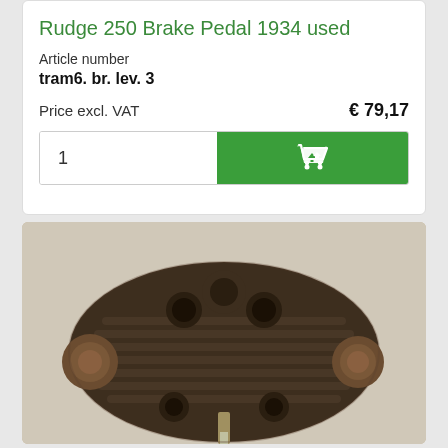Rudge 250 Brake Pedal 1934 used
Article number
tram6. br. lev. 3
Price excl. VAT
€ 79,17
[Figure (photo): Add to cart row with quantity 1 and green shopping cart button]
[Figure (photo): Photograph of a vintage motorcycle engine cylinder head, dark/rusty metal with fins and valve stems visible, placed on a light background]